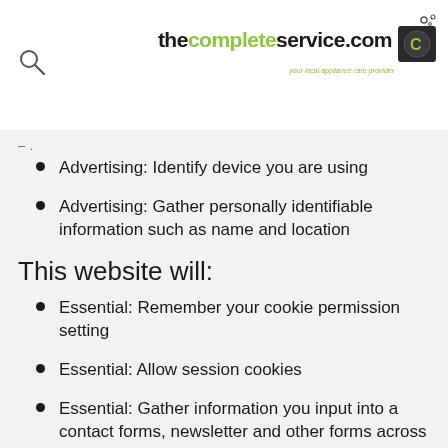[Figure (logo): thecompleteservice.com logo with green 'complete' text, black washing machine icon with green C, tagline 'your local appliance care provider']
- .
Advertising: Identify device you are using
Advertising: Gather personally identifiable information such as name and location
This website will:
Essential: Remember your cookie permission setting
Essential: Allow session cookies
Essential: Gather information you input into a contact forms, newsletter and other forms across all pages